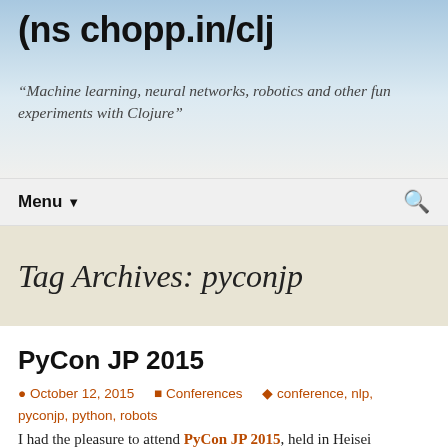(ns chopp.in/clj
"Machine learning, neural networks, robotics and other fun experiments with Clojure"
Menu ▾
Tag Archives: pyconjp
PyCon JP 2015
October 12, 2015  Conferences  conference, nlp, pyconjp, python, robots
I had the pleasure to attend PyCon JP 2015, held in Heisei